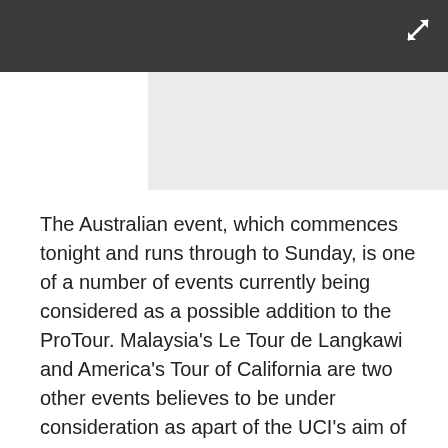[Figure (other): Dark header bar with expand/resize icon in top right corner, and a light grey image placeholder below]
The Australian event, which commences tonight and runs through to Sunday, is one of a number of events currently being considered as a possible addition to the ProTour. Malaysia's Le Tour de Langkawi and America's Tour of California are two other events believes to be under consideration as apart of the UCI's aim of growing the series beyond its current European base.
"I wouldn't say it is a long way away," said McQuaid on the series expansion into other continents. "The initial idea of the ProTour was to assist in the globalisation